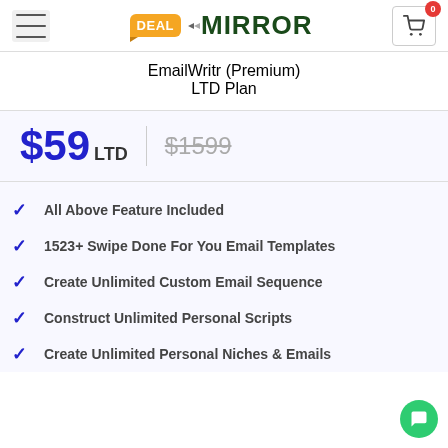DEAL MIRROR
EmailWritr (Premium)
LTD Plan
$59 LTD  $1599
All Above Feature Included
1523+ Swipe Done For You Email Templates
Create Unlimited Custom Email Sequence
Construct Unlimited Personal Scripts
Create Unlimited Personal Niches & Emails